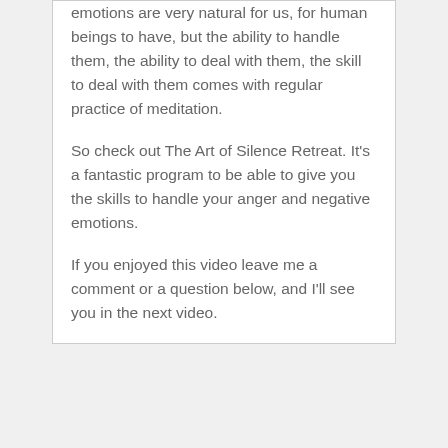emotions are very natural for us, for human beings to have, but the ability to handle them, the ability to deal with them, the skill to deal with them comes with regular practice of meditation.
So check out The Art of Silence Retreat. It's a fantastic program to be able to give you the skills to handle your anger and negative emotions.
If you enjoyed this video leave me a comment or a question below, and I'll see you in the next video.